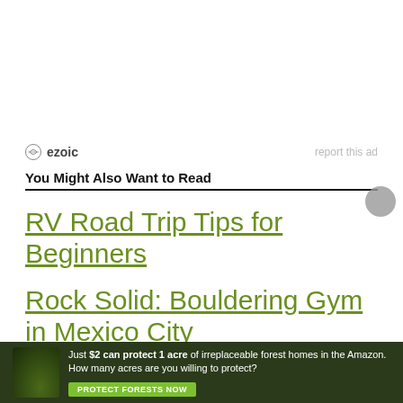[Figure (other): Ezoic advertisement placeholder — blank white ad space]
ezoic   report this ad
You Might Also Want to Read
RV Road Trip Tips for Beginners
Rock Solid: Bouldering Gym in Mexico City
[Figure (infographic): Forest conservation ad banner with green background: 'Just $2 can protect 1 acre of irreplaceable forest homes in the Amazon. How many acres are you willing to protect?' with a green 'PROTECT FORESTS NOW' button]